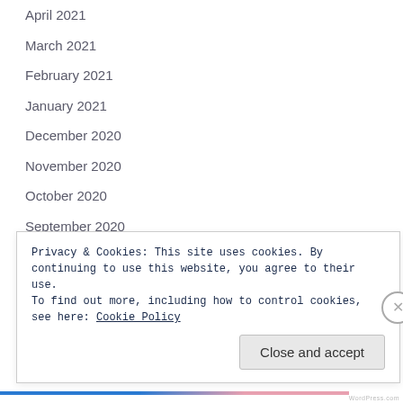April 2021
March 2021
February 2021
January 2021
December 2020
November 2020
October 2020
September 2020
August 2020
July 2020
June 2020
Privacy & Cookies: This site uses cookies. By continuing to use this website, you agree to their use.
To find out more, including how to control cookies, see here: Cookie Policy